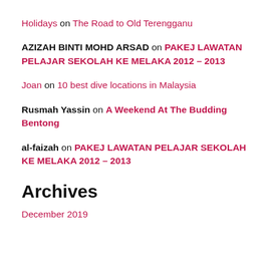Holidays on The Road to Old Terengganu
AZIZAH BINTI MOHD ARSAD on PAKEJ LAWATAN PELAJAR SEKOLAH KE MELAKA 2012 – 2013
Joan on 10 best dive locations in Malaysia
Rusmah Yassin on A Weekend At The Budding Bentong
al-faizah on PAKEJ LAWATAN PELAJAR SEKOLAH KE MELAKA 2012 – 2013
Archives
December 2019